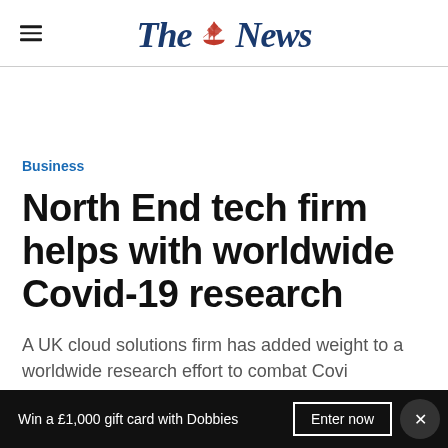The News
Business
North End tech firm helps with worldwide Covid-19 research
A UK cloud solutions firm has added weight to a worldwide research effort to combat Covi...